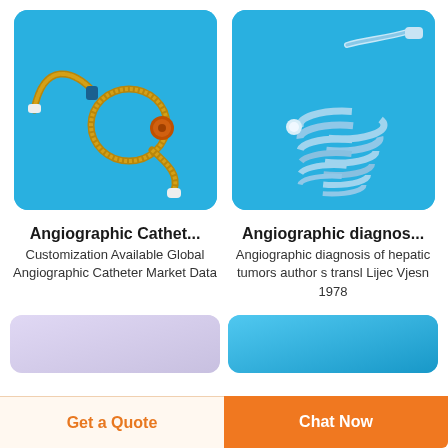[Figure (photo): Photo of an angiographic catheter with golden/brown coiled wire on a blue background]
[Figure (photo): Photo of a transparent angiographic diagnostic catheter with spiral coil on a blue background]
Angiographic Cathet...
Customization Available Global Angiographic Catheter Market Data
Angiographic diagnos...
Angiographic diagnosis of hepatic tumors author s transl Lijec Vjesn 1978
[Figure (photo): Partial product card with lavender/light purple background]
[Figure (photo): Partial product card with blue background]
Get a Quote
Chat Now